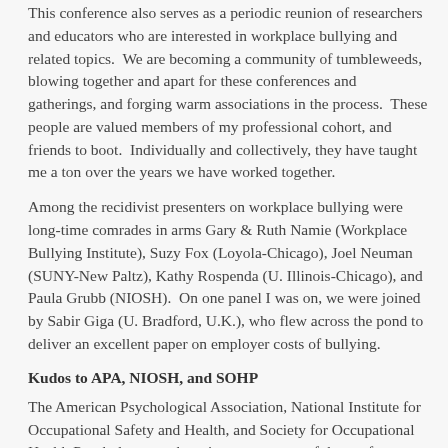This conference also serves as a periodic reunion of researchers and educators who are interested in workplace bullying and related topics.  We are becoming a community of tumbleweeds, blowing together and apart for these conferences and gatherings, and forging warm associations in the process.  These people are valued members of my professional cohort, and friends to boot.  Individually and collectively, they have taught me a ton over the years we have worked together.
Among the recidivist presenters on workplace bullying were long-time comrades in arms Gary & Ruth Namie (Workplace Bullying Institute), Suzy Fox (Loyola-Chicago), Joel Neuman (SUNY-New Paltz), Kathy Rospenda (U. Illinois-Chicago), and Paula Grubb (NIOSH).  On one panel I was on, we were joined by Sabir Giga (U. Bradford, U.K.), who flew across the pond to deliver an excellent paper on employer costs of bullying.
Kudos to APA, NIOSH, and SOHP
The American Psychological Association, National Institute for Occupational Safety and Health, and Society for Occupational Health Psychology are the primary sponsors of the conference, joined by the